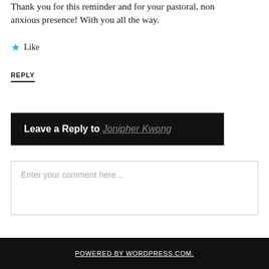Thank you for this reminder and for your pastoral, non anxious presence! With you all the way.
★ Like
REPLY
Leave a Reply to Jonipher Kwong
Enter your comment here...
POWERED BY WORDPRESS.COM.